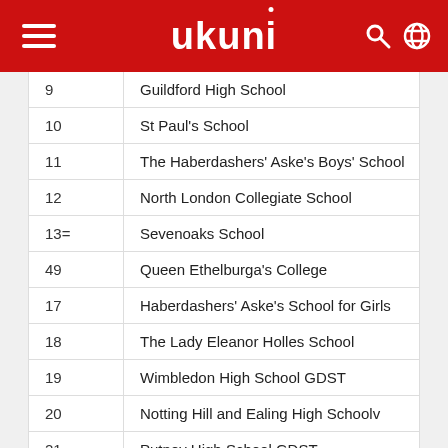ukuni
| Rank | School |
| --- | --- |
| 9 | Guildford High School |
| 10 | St Paul's School |
| 11 | The Haberdashers' Aske's Boys' School |
| 12 | North London Collegiate School |
| 13= | Sevenoaks School |
| 49 | Queen Ethelburga's College |
| 17 | Haberdashers' Aske's School for Girls |
| 18 | The Lady Eleanor Holles School |
| 19 | Wimbledon High School GDST |
| 20 | Notting Hill and Ealing High Schoolv |
| 21 | Putney High School GDST |